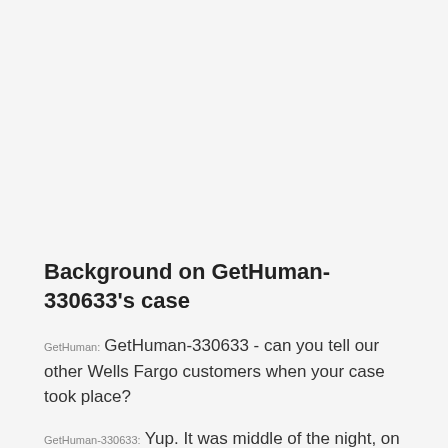Background on GetHuman-330633's case
GetHuman: GetHuman-330633 - can you tell our other Wells Fargo customers when your case took place?
GetHuman-330633: Yup. It was middle of the night, on October 20th.
GetHuman: Did you reach out to Wells Fargo, and if so, how?